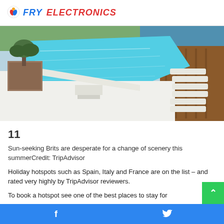FRY ELECTRONICS
[Figure (photo): Aerial view of a luxury outdoor swimming pool with turquoise water, sun loungers on the right, and a large potted olive tree on the left, surrounded by white stone decking.]
11
Sun-seeking Brits are desperate for a change of scenery this summerCredit: TripAdvisor
Holiday hotspots such as Spain, Italy and France are on the list – and rated very highly by TripAdvisor reviewers.
To book a hotspot see one of the best places to stay for...